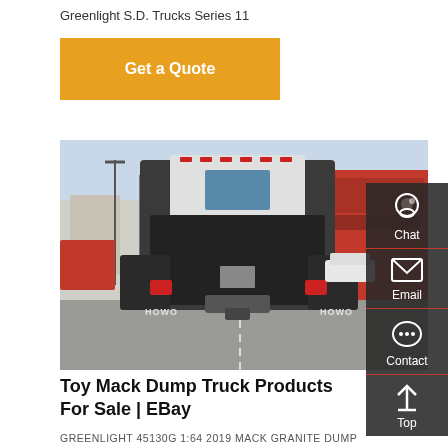Greenlight S.D. Trucks Series 11
Get a Quote
[Figure (photo): Rear view of a HOWO truck (branded HOWO on both sides) parked in a commercial area with buildings and other vehicles in background]
Toy Mack Dump Truck Products For Sale | EBay
GREENLIGHT 45130G 1:64 2019 MACK GRANITE DUMP